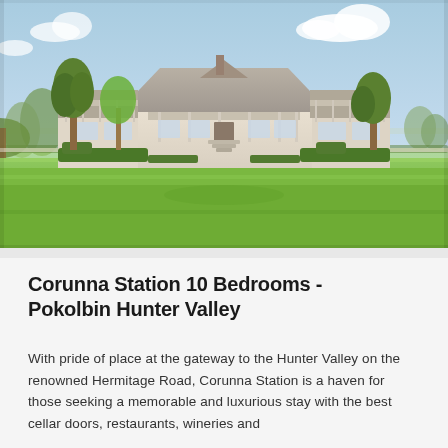[Figure (photo): Exterior photo of Corunna Station homestead - a large single-storey country homestead with a wide verandah and hip roof, set in manicured grounds with green lawns, hedges, and mature trees, under a partly cloudy blue sky. Located on Hermitage Road, Pokolbin, Hunter Valley, Australia.]
Corunna Station 10 Bedrooms - Pokolbin Hunter Valley
With pride of place at the gateway to the Hunter Valley on the renowned Hermitage Road, Corunna Station is a haven for those seeking a memorable and luxurious stay with the best cellar doors, restaurants, wineries and